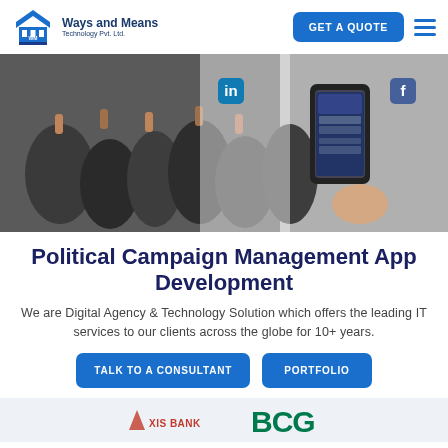Ways and Means Technology Pvt. Ltd. | GET A QUOTE
[Figure (photo): Hero image showing a large political crowd with raised fists on the left, and a hand holding a smartphone displaying news on the right. LinkedIn and Facebook icons visible.]
Political Campaign Management App Development
We are Digital Agency & Technology Solution which offers the leading IT services to our clients across the globe for 10+ years.
TALK TO A CONSULTANT | PORTFOLIO
[Figure (logo): Bottom logos strip showing partial logos of Axis Bank and BCG]